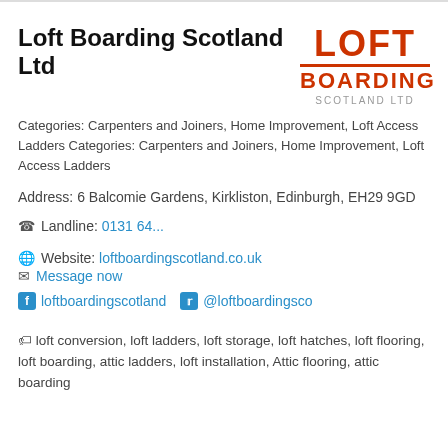Loft Boarding Scotland Ltd
[Figure (logo): Loft Boarding Scotland Ltd logo — LOFT in large orange text, orange underline, BOARDING in orange, SCOTLAND LTD in grey]
Categories: Carpenters and Joiners, Home Improvement, Loft Access Ladders Categories: Carpenters and Joiners, Home Improvement, Loft Access Ladders
Address: 6 Balcomie Gardens, Kirkliston, Edinburgh, EH29 9GD
Landline: 0131 64...
Website: loftboardingscotland.co.uk
Message now
loftboardingscotland @loftboardingsco
loft conversion, loft ladders, loft storage, loft hatches, loft flooring, loft boarding, attic ladders, loft installation, Attic flooring, attic boarding